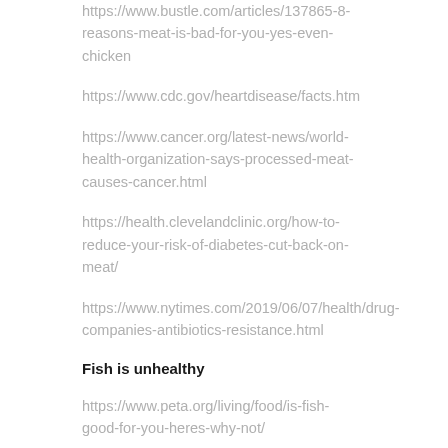https://www.bustle.com/articles/137865-8-reasons-meat-is-bad-for-you-yes-even-chicken
https://www.cdc.gov/heartdisease/facts.htm
https://www.cancer.org/latest-news/world-health-organization-says-processed-meat-causes-cancer.html
https://health.clevelandclinic.org/how-to-reduce-your-risk-of-diabetes-cut-back-on-meat/
https://www.nytimes.com/2019/06/07/health/drug-companies-antibiotics-resistance.html
Fish is unhealthy
https://www.peta.org/living/food/is-fish-good-for-you-heres-why-not/